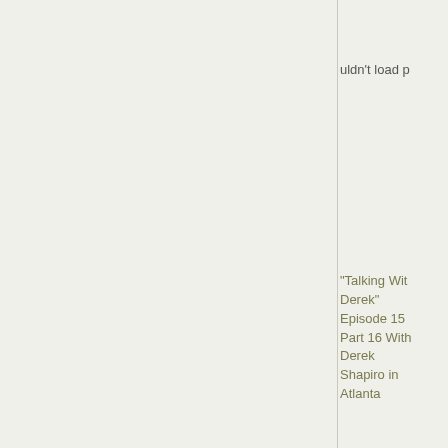uldn't load p
"Talking With Derek" Episode 15 Part 16 With Derek Shapiro in Atlanta